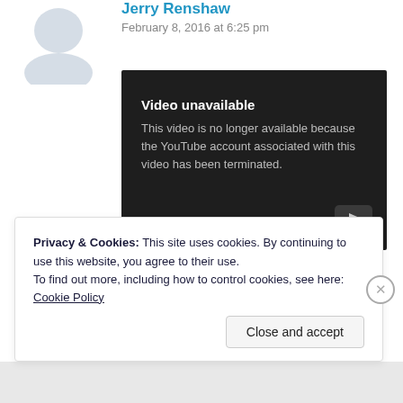[Figure (illustration): Grey avatar/user silhouette placeholder image in upper left]
Jerry Renshaw
February 8, 2016 at 6:25 pm
[Figure (screenshot): YouTube video unavailable error box: dark background with text 'Video unavailable' and 'This video is no longer available because the YouTube account associated with this video has been terminated.' with YouTube play button icon in bottom right.]
★ Liked by 1 person
Privacy & Cookies: This site uses cookies. By continuing to use this website, you agree to their use.
To find out more, including how to control cookies, see here: Cookie Policy
Close and accept